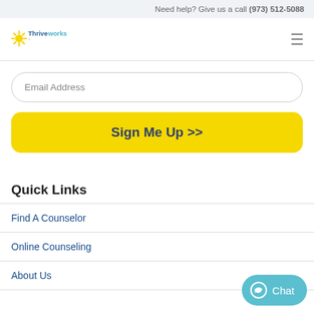Need help? Give us a call (973) 512-5088
[Figure (logo): Thriveworks logo with yellow sunburst and blue/teal text]
Email Address
Sign Me Up >>
Quick Links
Find A Counselor
Online Counseling
About Us
Chat